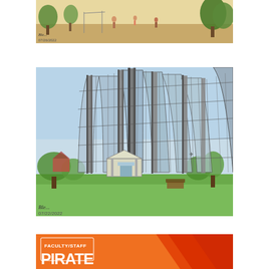[Figure (illustration): Architectural sketch of an outdoor park/playground area with trees, people, and sandy ground. Dated 07/26/2022 with artist signature.]
[Figure (illustration): Architectural concept sketch of a large domed or tensioned net/fabric structure (batting cage or similar sports facility) with tall steel poles supporting a curved net roof, green lawn in foreground, trees in background. Dated 07/22/2022 with artist signature.]
[Figure (illustration): Orange and red banner graphic with text 'FACULTY/STAFF' at top and large bold partially visible text below, with diagonal swoosh design elements.]